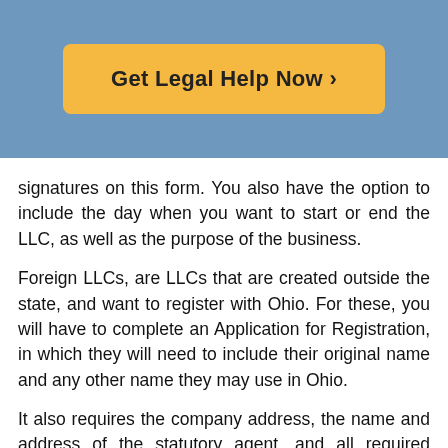[Figure (other): Orange/yellow 'Get Legal Help Now >' call-to-action button on a blue background banner]
signatures on this form. You also have the option to include the day when you want to start or end the LLC, as well as the purpose of the business.
Foreign LLCs, are LLCs that are created outside the state, and want to register with Ohio. For these, you will have to complete an Application for Registration, in which they will need to include their original name and any other name they may use in Ohio.
It also requires the company address, the name and address of the statutory agent, and all required signatures. The paperwork for an LLC can sometimes be complex; it may be necessary to work with a business attorney, who can help ensure that all items are properly completed and that they are submitted before